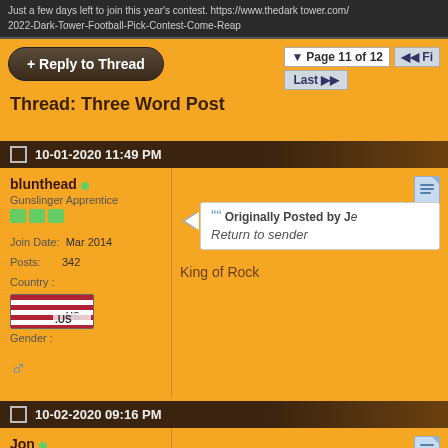Just a few days left to join this year's contest. https://www.thedarktower.com/2022-Dark-Tower-Football-Pick-Contest-Come-Reap
+ Reply to Thread
Page 11 of 12  Last
Thread: Three Word Post
10-01-2020 11:49 PM
blunthead
Gunslinger Apprentice
Join Date: Mar 2014
Posts: 342
Country: US
Gender: Male
Originally Posted by J
Return to sender

King of Rock
10-02-2020 09:16 PM
Jon